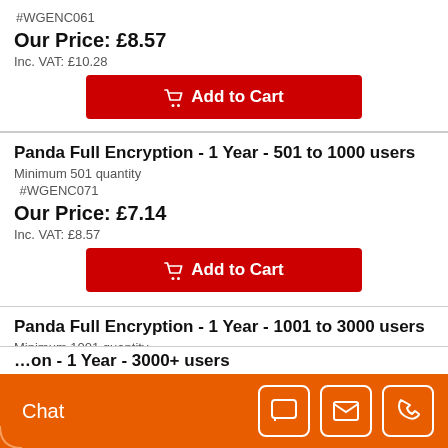#WGENC061
Our Price: £8.57
Inc. VAT: £10.28
Add to Cart
Panda Full Encryption - 1 Year - 501 to 1000 users
Minimum 501 quantity
#WGENC071
Our Price: £7.14
Inc. VAT: £8.57
Add to Cart
Panda Full Encryption - 1 Year - 1001 to 3000 users
Minimum 1001 quantity
#WGENC081
Our Price: £6.07
Inc. VAT: £7.28
Panda Full Encryption - 1 Year - 3000+ users